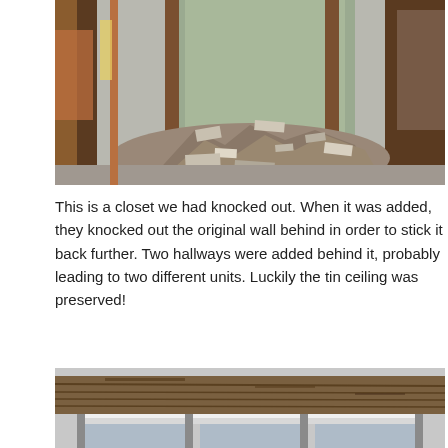[Figure (photo): Interior demolition scene showing a knocked-out closet wall with large pile of rubble and debris on the floor, exposed wall framing, and a green-painted room visible beyond the opening. Wooden door frames visible on left and right sides.]
This is a closet we had knocked out. When it was added, they knocked out the original wall behind in order to stick it back further. Two hallways were added behind it, probably leading to two different units. Luckily the tin ceiling was preserved!
[Figure (photo): Close-up photo of an old deteriorated wooden structure or cabinet with horizontal planks, partially visible at the bottom of the page.]